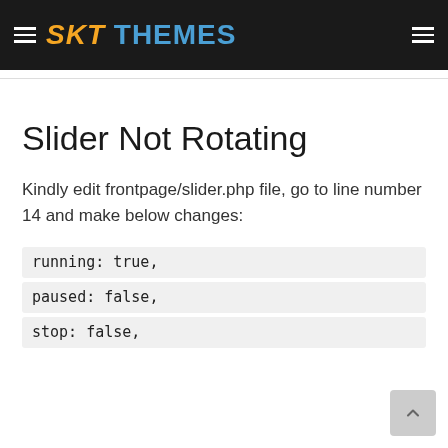SKT THEMES
Slider Not Rotating
Kindly edit frontpage/slider.php file, go to line number 14 and make below changes:
running: true,
paused: false,
stop: false,